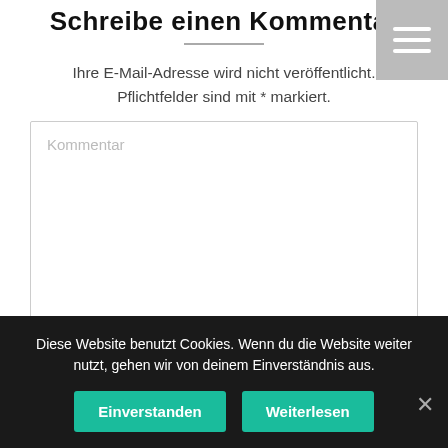Schreibe einen Kommentar
Ihre E-Mail-Adresse wird nicht veröffentlicht. Pflichtfelder sind mit * markiert.
[Figure (screenshot): Comment text area input field with placeholder text 'Kommentar']
Diese Website benutzt Cookies. Wenn du die Website weiter nutzt, gehen wir von deinem Einverständnis aus.